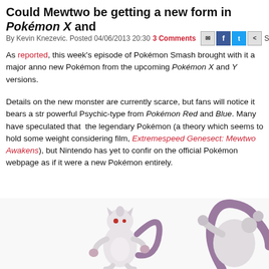Could Mewtwo be getting a new form in Pokémon X and Y?
By Kevin Knezevic. Posted 04/06/2013 20:30 3 Comments ShareThis
As reported, this week's episode of Pokémon Smash brought with it a major announcement — a new Pokémon from the upcoming Pokémon X and Y versions.
Details on the new monster are currently scarce, but fans will notice it bears a strong resemblance to the powerful Psychic-type from Pokémon Red and Blue. Many have speculated that it could be a new form of the legendary Pokémon (a theory which seems to hold some weight considering its appearance in the upcoming film, Extremespeed Genesect: Mewtwo Awakens), but Nintendo has yet to confirm this, listing it on the official Pokémon webpage as if it were a new Pokémon entirely.
[Figure (illustration): Two Mewtwo forms side by side — a slender new form on the left and the classic Mewtwo on the right, both white and purple Psychic-type Pokémon.]